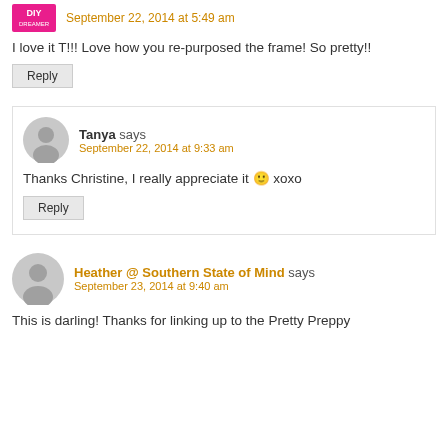September 22, 2014 at 5:49 am
I love it T!!! Love how you re-purposed the frame! So pretty!!
Reply
Tanya says
September 22, 2014 at 9:33 am
Thanks Christine, I really appreciate it 🙂 xoxo
Reply
Heather @ Southern State of Mind says
September 23, 2014 at 9:40 am
This is darling! Thanks for linking up to the Pretty Preppy